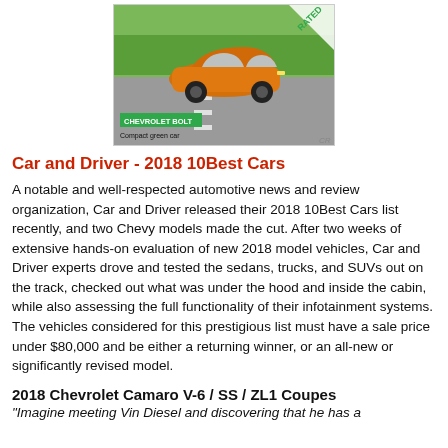[Figure (photo): Photo of an orange Chevrolet Bolt electric car driving on a road, with a green label reading 'CHEVROLET BOLT' and subtitle 'Compact green car'. A 'RATED' badge appears in the top-right corner.]
Car and Driver - 2018 10Best Cars
A notable and well-respected automotive news and review organization, Car and Driver released their 2018 10Best Cars list recently, and two Chevy models made the cut. After two weeks of extensive hands-on evaluation of new 2018 model vehicles, Car and Driver experts drove and tested the sedans, trucks, and SUVs out on the track, checked out what was under the hood and inside the cabin, while also assessing the full functionality of their infotainment systems. The vehicles considered for this prestigious list must have a sale price under $80,000 and be either a returning winner, or an all-new or significantly revised model.
2018 Chevrolet Camaro V-6 / SS / ZL1 Coupes
"Imagine meeting Vin Diesel and discovering that he has a